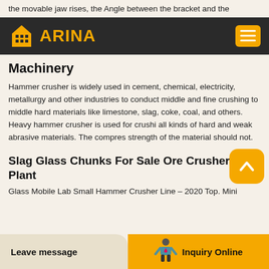the movable jaw rises, the Angle between the bracket and the
ARINA
Machinery
Hammer crusher is widely used in cement, chemical, electricity, metallurgy and other industries to conduct middle and fine crushing to middle hard materials like limestone, slag, coke, coal, and others. Heavy hammer crusher is used for crushing all kinds of hard and weak abrasive materials. The compressive strength of the material should not.
Slag Glass Chunks For Sale Ore Crusher Plant
Glass Mobile Lab Small Hammer Crusher Line – 2020 Top. Mini
Leave message   Inquiry Online